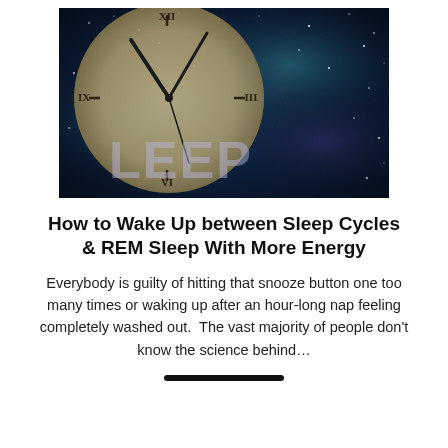[Figure (photo): A cosmic space background with stars and nebula in blue-green-purple tones, overlaid with a large analog clock face showing Roman numerals and the partially visible word 'SLEEP' in large translucent letters at the bottom]
How to Wake Up between Sleep Cycles & REM Sleep With More Energy
Everybody is guilty of hitting that snooze button one too many times or waking up after an hour-long nap feeling completely washed out.  The vast majority of people don't know the science behind…